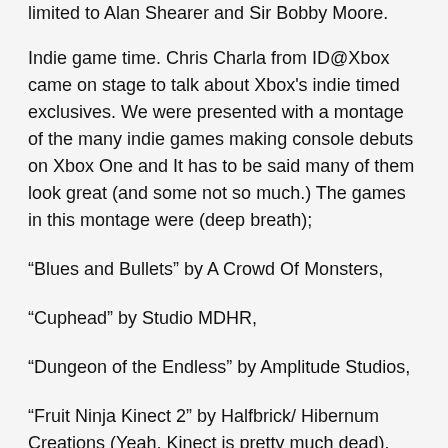limited to Alan Shearer and Sir Bobby Moore.
Indie game time. Chris Charla from ID@Xbox came on stage to talk about Xbox's indie timed exclusives. We were presented with a montage of the many indie games making console debuts on Xbox One and It has to be said many of them look great (and some not so much.) The games in this montage were (deep breath);
“Blues and Bullets” by A Crowd Of Monsters,
“Cuphead” by Studio MDHR,
“Dungeon of the Endless” by Amplitude Studios,
“Fruit Ninja Kinect 2” by Halfbrick/ Hibernum Creations (Yeah, Kinect is pretty much dead),
“Funk of Titans” by A Crowd of Monsters,